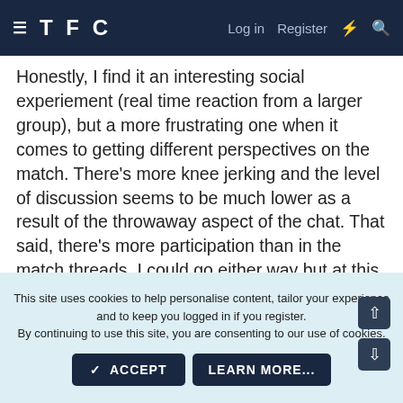TFC  Log in  Register
Honestly, I find it an interesting social experiement (real time reaction from a larger group), but a more frustrating one when it comes to getting different perspectives on the match. There's more knee jerking and the level of discussion seems to be much lower as a result of the throwaway aspect of the chat. That said, there's more participation than in the match threads. I could go either way but at this point I think I'd bin it.
✓ 1
This site uses cookies to help personalise content, tailor your experience and to keep you logged in if you register.
By continuing to use this site, you are consenting to our use of cookies.